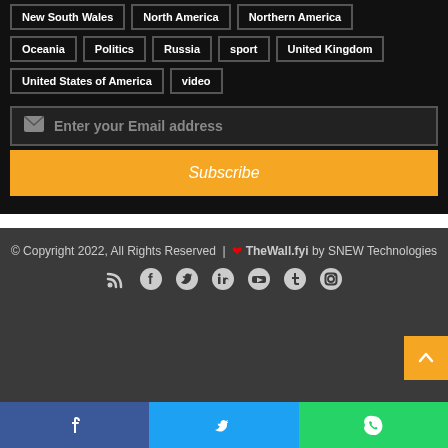New South Wales
North America
Northern America
Oceania
Politics
Russia
sport
United Kingdom
United States of America
video
Enter your Email address
Subscribe
© Copyright 2022, All Rights Reserved | ❤ TheWall.fyi by SNEW Technologies
[Figure (infographic): Social media icon links: RSS, Facebook, Twitter, LinkedIn, YouTube, Tumblr, Instagram]
[Figure (infographic): Bottom share bar with Facebook, Twitter, WhatsApp icons]